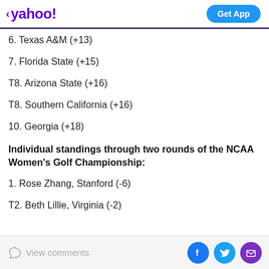yahoo! | Get App
6. Texas A&M (+13)
7. Florida State (+15)
T8. Arizona State (+16)
T8. Southern California (+16)
10. Georgia (+18)
Individual standings through two rounds of the NCAA Women's Golf Championship:
1. Rose Zhang, Stanford (-6)
T2. Beth Lillie, Virginia (-2)
View comments | Facebook | Twitter | Email